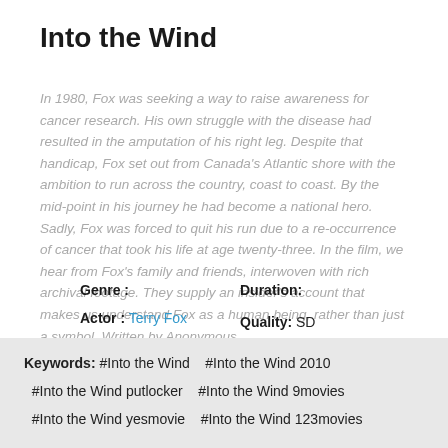Into the Wind
In 1980, Fox was seeking a way to raise awareness for cancer research. His own struggle with the disease had resulted in the amputation of his right leg. Despite that handicap, Fox set out from Canada's Atlantic shore with the ambition to run across the country, coast to coast. By the mid-point in his journey he had become a national hero. Sadly, Fox was forced to quit his run due to a re-occurrence of cancer that took his life at age twenty-three. In the film, we hear from Fox's family and friends, interwoven with rich archival footage. They supply an insider's account that makes us understand Fox as a human being, rather than just a symbol. Written by Anonymous
Genre :
Duration:
Actor : Terry Fox
Quality: SD
Director : Ezra Holland
IMDb: 8.1
Country : USA, Canada
Keywords: #Into the Wind  #Into the Wind 2010  #Into the Wind putlocker  #Into the Wind 9movies  #Into the Wind yesmovie  #Into the Wind 123movies